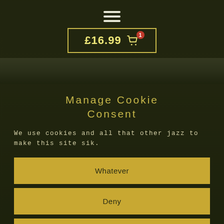[Figure (infographic): Hamburger menu icon — three horizontal white lines stacked vertically, centered at top of page]
[Figure (infographic): Shopping cart button with yellow border showing price £16.99 with cart icon and red badge showing '1']
Manage Cookie Consent
We use cookies and all that other jazz to make this site sik.
Whatever
Deny
View preferences